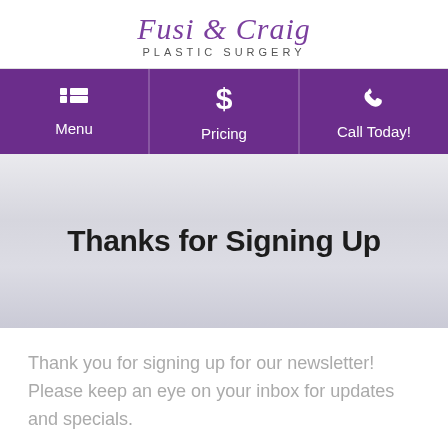[Figure (logo): Fusi & Craig Plastic Surgery logo with cursive purple script and uppercase subtitle]
Menu | Pricing | Call Today!
Thanks for Signing Up
Thank you for signing up for our newsletter! Please keep an eye on your inbox for updates and specials.